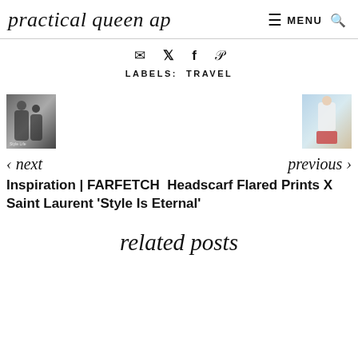practical queen ap   MENU 🔍
✉  𝕏  f  𝒑
LABELS:  TRAVEL
[Figure (photo): Two navigation thumbnail images side by side: left thumbnail shows a black and white photo of two people in formal wear, right thumbnail shows a person in a white top and red skirt outdoors]
‹ next   previous ›
Inspiration | FARFETCH  Headscarf Flared Prints X Saint Laurent 'Style Is Eternal'
related posts